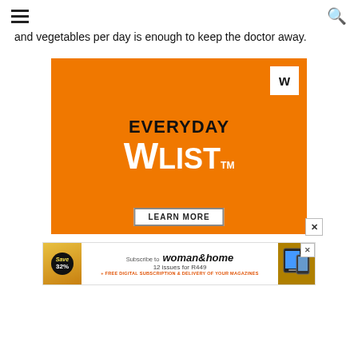Navigation header with hamburger menu and search icon
and vegetables per day is enough to keep the doctor away.
[Figure (illustration): Orange advertisement banner for 'Everyday W List' with white W logo in top-right corner, bold text 'EVERYDAY' in black and 'WLIST' in white with TM mark, and a 'LEARN MORE' button at the bottom. An X close button appears at the right edge.]
[Figure (illustration): Woman&home magazine subscription banner ad: magazine cover image on left with 'Save 32%' badge, Subscribe to woman&home text, 12 issues for R449, free digital subscription offer, and device image on right. Close button top-right.]